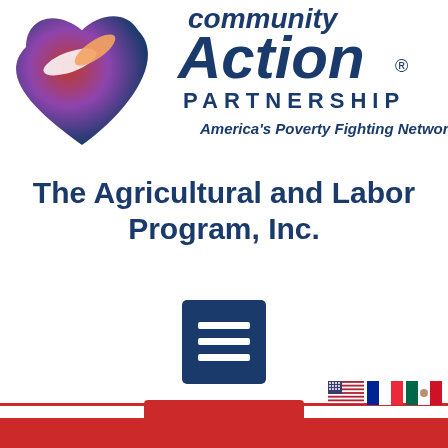[Figure (logo): Community Action Partnership logo — heart shape with hands in red/blue gradient on left; 'community Action. PARTNERSHIP' in dark blue with tagline 'America's Poverty Fighting Network' on right]
The Agricultural and Labor Program, Inc.
[Figure (other): Dark blue square menu/hamburger button icon with three white horizontal lines]
[Figure (other): Red rectangle DONATE button]
[Figure (other): Bottom footer bar in red with US, French, and Mexican flag icons in bottom right corner]